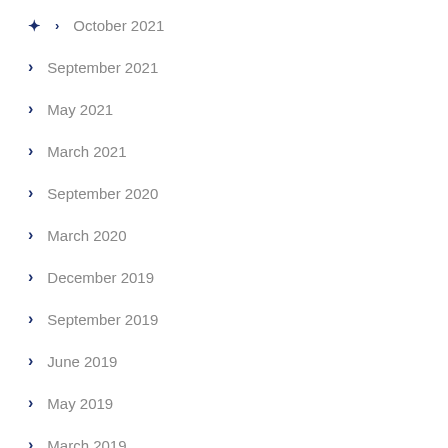October 2021
September 2021
May 2021
March 2021
September 2020
March 2020
December 2019
September 2019
June 2019
May 2019
March 2019